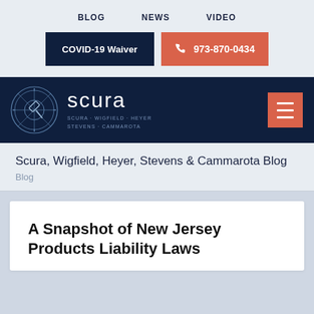BLOG   NEWS   VIDEO
COVID-19 Waiver
973-870-0434
[Figure (logo): Scura law firm logo with circular emblem containing scales of justice icon, text 'scura' and 'SCURA · WIGFIELD · HEYER STEVENS · CAMMAROTA' on dark navy background with orange hamburger menu button]
Scura, Wigfield, Heyer, Stevens & Cammarota Blog
Blog
A Snapshot of New Jersey Products Liability Laws